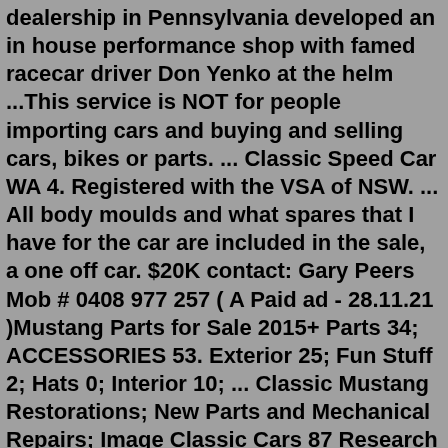dealership in Pennsylvania developed an in house performance shop with famed racecar driver Don Yenko at the helm ...This service is NOT for people importing cars and buying and selling cars, bikes or parts. ... Classic Speed Car WA 4. Registered with the VSA of NSW. ... All body moulds and what spares that I have for the car are included in the sale, a one off car. $20K contact: Gary Peers Mob # 0408 977 257 ( A Paid ad - 28.11.21 )Mustang Parts for Sale 2015+ Parts 34; ACCESSORIES 53. Exterior 25; Fun Stuff 2; Hats 0; Interior 10; ... Classic Mustang Restorations; New Parts and Mechanical Repairs; Image Classic Cars 87 Research Road Pooraka 5095 Australia. Phone 08 8193 6112 Fax 08 8262 4881Find cars from US based car sales websites, all in one place. CLICK into any listing to see the landed price in Australian Dollars. Chevrolet Roadster $ 10,295 USD. -- 1925 Cadillac, Michigan. Chrysler Imperial $ 26,300 USD. -- 1966 Milbank, South Dakota. MG TD $ 33,250 USD. 13,742 km 1952 College Station, Texas.Oldride offering classic car classifieds, classic